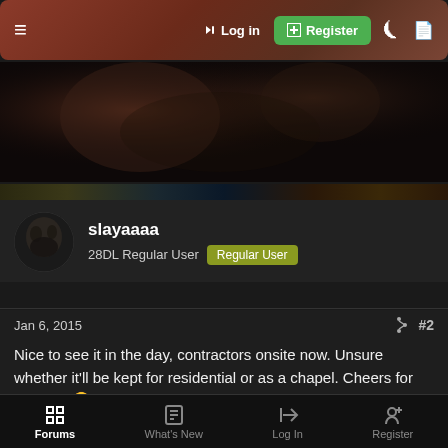≡  → Log in  ⊕ Register
[Figure (photo): Dark banner image with atmospheric reddish-brown tones, appears to be a dark fantasy or horror themed header image]
slayaaaa
28DL Regular User  Regular User
Jan 6, 2015  #2
Nice to see it in the day, contractors onsite now. Unsure whether it'll be kept for residential or as a chapel. Cheers for sharing. 🙂✏
Lavino
............  28DL Full Member
Forums  What's New  Log In  Register